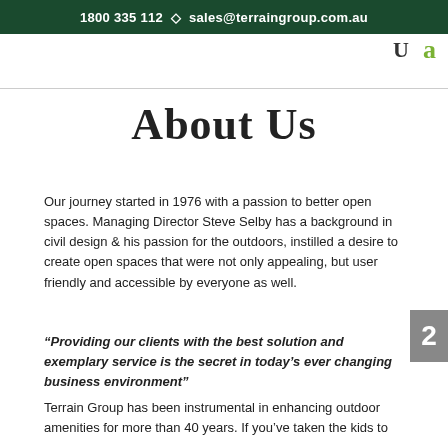1800 335 112  ⬥  sales@terraingroup.com.au
About Us
Our journey started in 1976 with a passion to better open spaces. Managing Director Steve Selby has a background in civil design & his passion for the outdoors, instilled a desire to create open spaces that were not only appealing, but user friendly and accessible by everyone as well.
“Providing our clients with the best solution and exemplary service is the secret in today’s ever changing business environment”
Terrain Group has been instrumental in enhancing outdoor amenities for more than 40 years. If you’ve taken the kids to